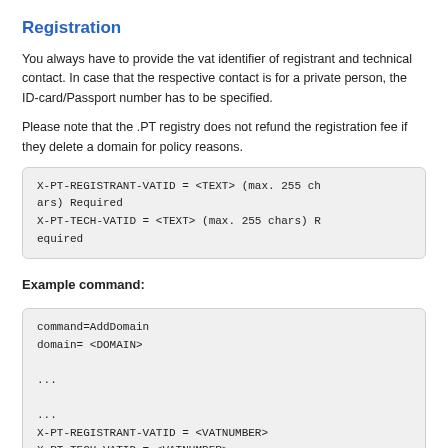Registration
You always have to provide the vat identifier of registrant and technical contact. In case that the respective contact is for a private person, the ID-card/Passport number has to be specified.
Please note that the .PT registry does not refund the registration fee if they delete a domain for policy reasons.
X-PT-REGISTRANT-VATID = <TEXT> (max. 255 chars) Required
X-PT-TECH-VATID = <TEXT> (max. 255 chars) Required
Example command:
command=AddDomain
domain= <DOMAIN>

...

...
X-PT-REGISTRANT-VATID = <VATNUMBER>
X-PT-TECH-VATID = <VATNUMBER>